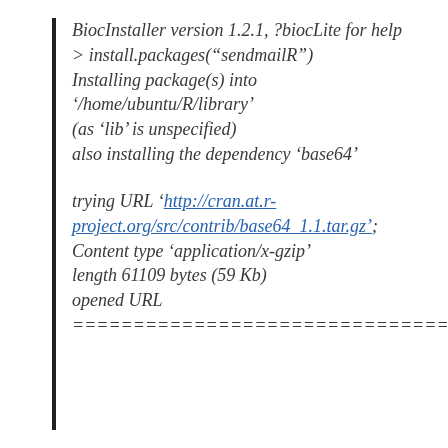BiocInstaller version 1.2.1, ?biocLite for help
> install.packages(“sendmailR”)
Installing package(s) into ‘/home/ubuntu/R/library’
(as ‘lib’ is unspecified)
also installing the dependency ‘base64’

trying URL ‘http://cran.at.r-project.org/src/contrib/base64_1.1.tar.gz’;
Content type ‘application/x-gzip’
length 61109 bytes (59 Kb)
opened URL
===========================================